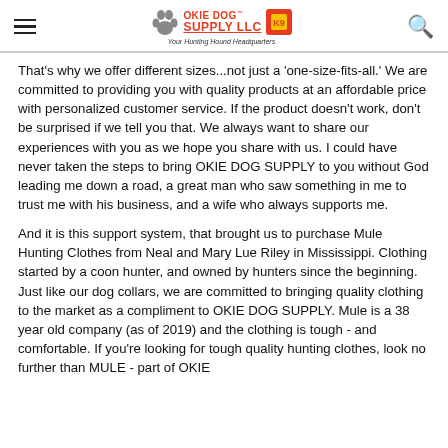OKIE DOG™ SUPPLY LLC — Your Hunting Hound Headquarters
That's why we offer different sizes...not just a 'one-size-fits-all.' We are committed to providing you with quality products at an affordable price with personalized customer service. If the product doesn't work, don't be surprised if we tell you that. We always want to share our experiences with you as we hope you share with us. I could have never taken the steps to bring OKIE DOG SUPPLY to you without God leading me down a road, a great man who saw something in me to trust me with his business, and a wife who always supports me.
And it is this support system, that brought us to purchase Mule Hunting Clothes from Neal and Mary Lue Riley in Mississippi. Clothing started by a coon hunter, and owned by hunters since the beginning. Just like our dog collars, we are committed to bringing quality clothing to the market as a compliment to OKIE DOG SUPPLY. Mule is a 38 year old company (as of 2019) and the clothing is tough - and comfortable. If you're looking for tough quality hunting clothes, look no further than MULE - part of OKIE